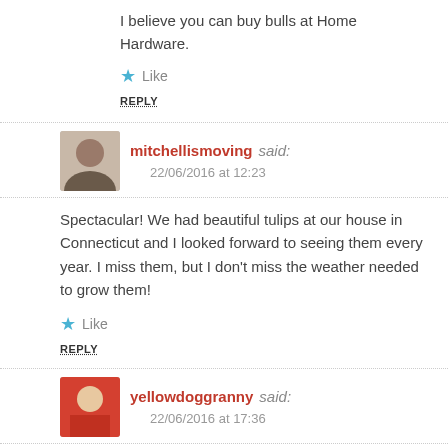I believe you can buy bulls at Home Hardware.
Like
REPLY
mitchellismoving said: 22/06/2016 at 12:23
Spectacular! We had beautiful tulips at our house in Connecticut and I looked forward to seeing them every year. I miss them, but I don't miss the weather needed to grow them!
Like
REPLY
yellowdoggranny said: 22/06/2016 at 17:36